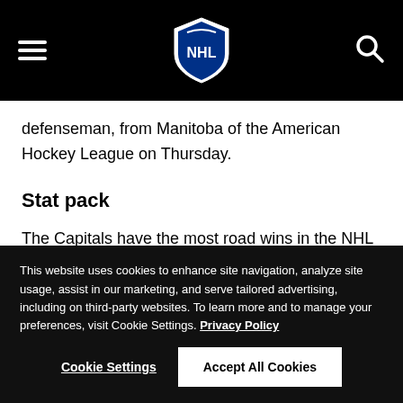NHL navigation header with hamburger menu, NHL shield logo, and search icon
defenseman, from Manitoba of the American Hockey League on Thursday.
Stat pack
The Capitals have the most road wins in the NHL (21-9-
This website uses cookies to enhance site navigation, analyze site usage, assist in our marketing, and serve tailored advertising, including on third-party websites. To learn more and to manage your preferences, visit Cookie Settings. Privacy Policy
Cookie Settings
Accept All Cookies